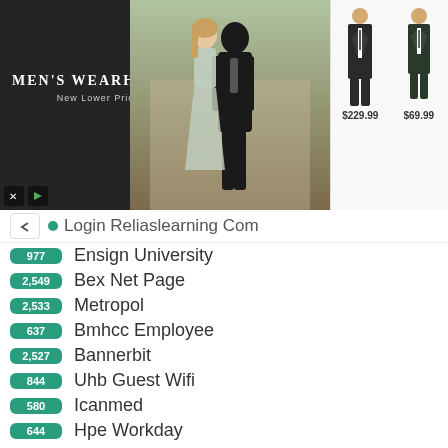[Figure (screenshot): Men's Wearhouse advertisement banner showing a couple in formalwear and two suit product images priced at $229.99 and $69.99]
Login Reliaslearning Com
977 Ensign University
2,549 Bex Net Page
2,533 Metropol
637 Bmhcc Employee
2,527 Bannerbit
844 Uhb Guest Wifi
580 Icanmed
644 Hpe Workday
595 Mynikken Eu
2,476 Mbank Sk